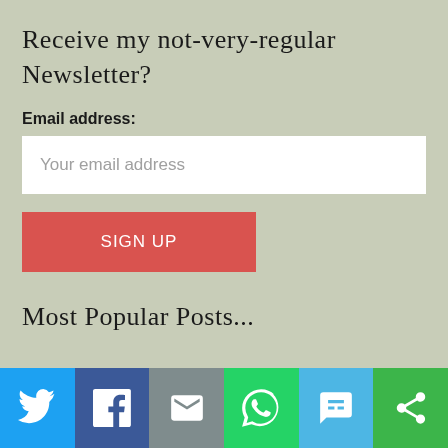Receive my not-very-regular Newsletter?
Email address:
[Figure (other): Email address input field with placeholder text 'Your email address']
[Figure (other): Red 'SIGN UP' button]
Most Popular Posts...
[Figure (other): Social sharing bar with icons: Twitter (blue), Facebook (dark blue), Email (gray), WhatsApp (green), SMS (light blue), Share (green)]